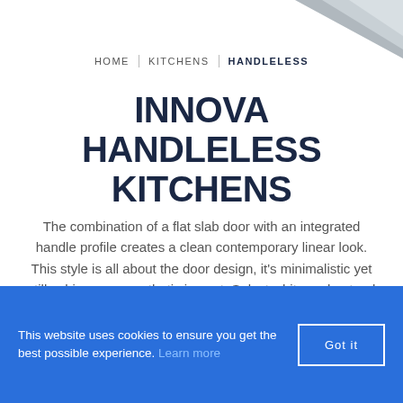[Figure (photo): Grey angled kitchen door/panel visible in top right corner]
HOME | KITCHENS | HANDLELESS
INNOVA HANDLELESS KITCHENS
The combination of a flat slab door with an integrated handle profile creates a clean contemporary linear look. This style is all about the door design, it's minimalistic yet still achieves an aesthetic impact. Select white and natural tones for a more subdued look or bold colours for maximum effect. This style of door is finished
This website uses cookies to ensure you get the best possible experience. Learn more    Got it